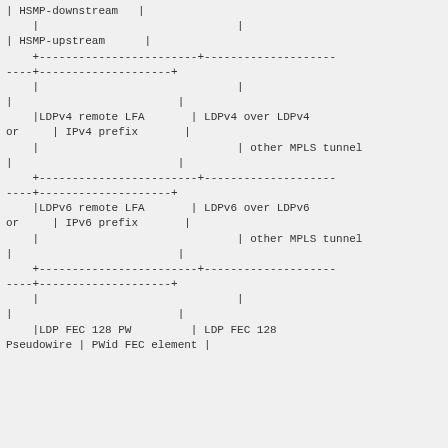| HSMP-downstream   |
    |                              |
| HSMP-upstream      |
    +------------------------+--------------------
----+--------------------+
    |                              |
|                         |
    |LDPv4 remote LFA       | LDPv4 over LDPv4
or     | IPv4 prefix       |
    |                              | other MPLS tunnel
|                         |
    +------------------------+--------------------
----+--------------------+
    |LDPv6 remote LFA       | LDPv6 over LDPv6
or     | IPv6 prefix       |
    |                              | other MPLS tunnel
|                         |
    +------------------------+--------------------
----+--------------------+
    |                              |
|                         |
    |LDP FEC 128 PW         | LDP FEC 128
Pseudowire | PWid FEC element |